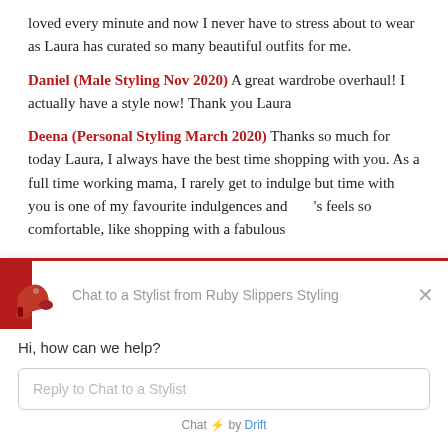loved every minute and now I never have to stress about to wear as Laura has curated so many beautiful outfits for me.
Daniel (Male Styling Nov 2020) A great wardrobe overhaul! I actually have a style now! Thank you Laura
Deena (Personal Styling March 2020) Thanks so much for today Laura, I always have the best time shopping with you. As a full time working mama, I rarely get to indulge but time with you is one of my favourite indulgences and 's feels so comfortable, like shopping with a fabulous
[Figure (screenshot): Chat widget from Ruby Slippers Styling with logo (red high heels), header 'Chat to a Stylist from Ruby Slippers Styling', close X button, greeting 'Hi, how can we help?', input field 'Reply to Chat to a Stylist', and footer 'Chat ⚡ by Drift']